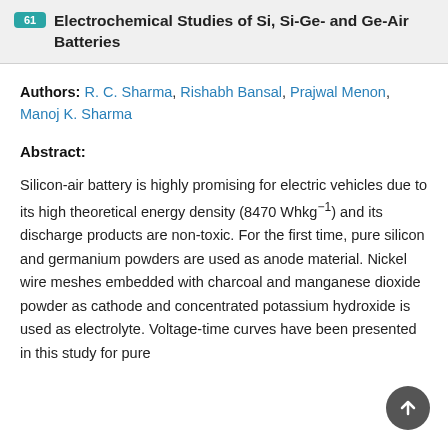61 Electrochemical Studies of Si, Si-Ge- and Ge-Air Batteries
Authors: R. C. Sharma, Rishabh Bansal, Prajwal Menon, Manoj K. Sharma
Abstract:
Silicon-air battery is highly promising for electric vehicles due to its high theoretical energy density (8470 Whkg⁻¹) and its discharge products are non-toxic. For the first time, pure silicon and germanium powders are used as anode material. Nickel wire meshes embedded with charcoal and manganese dioxide powder as cathode and concentrated potassium hydroxide is used as electrolyte. Voltage-time curves have been presented in this study for pure